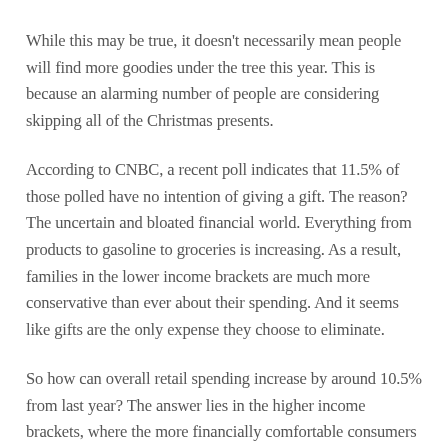While this may be true, it doesn't necessarily mean people will find more goodies under the tree this year. This is because an alarming number of people are considering skipping all of the Christmas presents.
According to CNBC, a recent poll indicates that 11.5% of those polled have no intention of giving a gift. The reason? The uncertain and bloated financial world. Everything from products to gasoline to groceries is increasing. As a result, families in the lower income brackets are much more conservative than ever about their spending. And it seems like gifts are the only expense they choose to eliminate.
So how can overall retail spending increase by around 10.5% from last year? The answer lies in the higher income brackets, where the more financially comfortable consumers plan to spend more. Low-income participants who donate can spend around $ 536 on gifts; those earning more than $ 100,000 could spend an